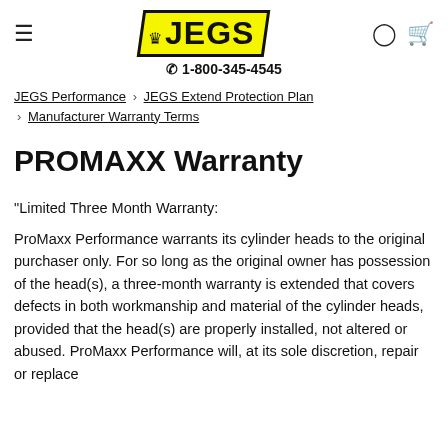≡  JEGS  ○ 🛒
☎ 1-800-345-4545
JEGS Performance › JEGS Extend Protection Plan › Manufacturer Warranty Terms
PROMAXX Warranty
"Limited Three Month Warranty:
ProMaxx Performance warrants its cylinder heads to the original purchaser only. For so long as the original owner has possession of the head(s), a three-month warranty is extended that covers defects in both workmanship and material of the cylinder heads, provided that the head(s) are properly installed, not altered or abused. ProMaxx Performance will, at its sole discretion, repair or replace